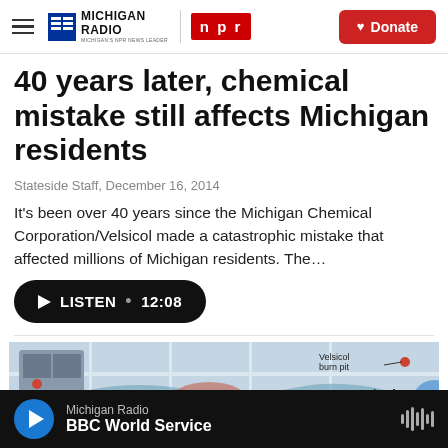Michigan Radio | NPR | Donate
40 years later, chemical mistake still affects Michigan residents
Stateside Staff,  December 16, 2014
It's been over 40 years since the Michigan Chemical Corporation/Velsicol made a catastrophic mistake that affected millions of Michigan residents. The…
[Figure (other): Black pill-shaped button with play triangle icon and text: LISTEN • 12:08]
[Figure (map): Map showing Velsicol burn pit, Pine River, and City of St. Louis]
Michigan Radio | BBC World Service